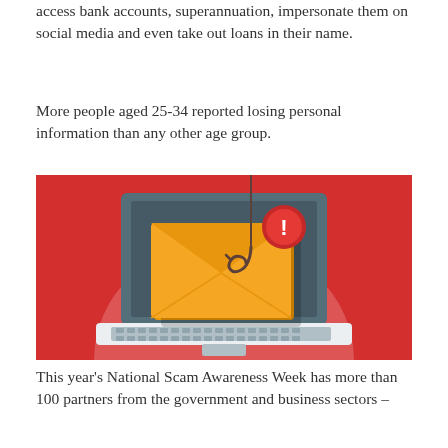access bank accounts, superannuation, impersonate them on social media and even take out loans in their name.
More people aged 25-34 reported losing personal information than any other age group.
[Figure (illustration): Phishing illustration showing a laptop computer with a large envelope on screen, a fishing hook hanging from above, and a red warning/alert badge with exclamation mark. Background is red with a light semicircle shape.]
This year’s National Scam Awareness Week has more than 100 partners from the government and business sectors –